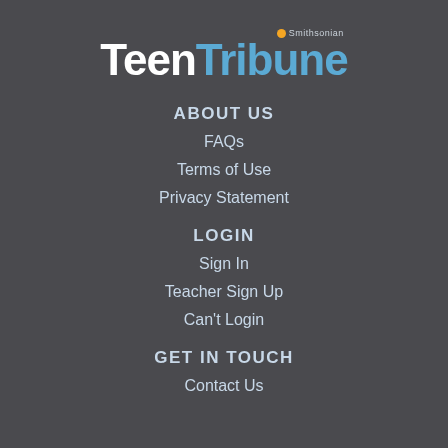[Figure (logo): Smithsonian Teen Tribune logo with sun icon, 'Teen' in white and 'Tribune' in blue]
ABOUT US
FAQs
Terms of Use
Privacy Statement
LOGIN
Sign In
Teacher Sign Up
Can't Login
GET IN TOUCH
Contact Us
[Figure (illustration): Social media icons: Facebook, Twitter, Pinterest, RSS feed]